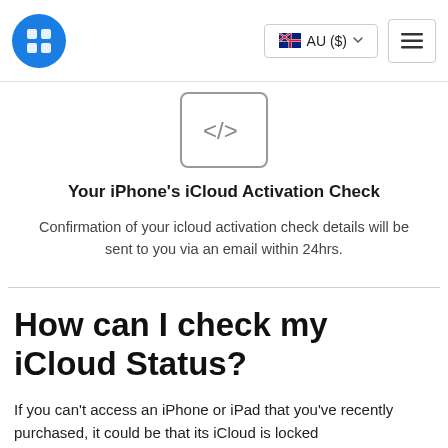AU ($)
[Figure (illustration): Code/embed icon: a rounded rectangle containing </> symbols in gray]
Your iPhone's iCloud Activation Check
Confirmation of your icloud activation check details will be sent to you via an email within 24hrs.
How can I check my iCloud Status?
If you can't access an iPhone or iPad that you've recently purchased, it could be that its iCloud is locked